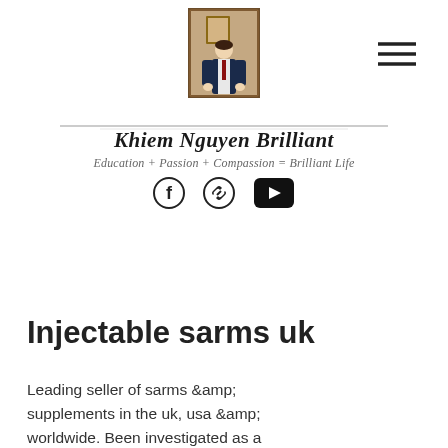[Figure (photo): Portrait photo of a person in formal attire, displayed in a framed/portrait style image used as a website logo]
[Figure (other): Hamburger menu icon (three horizontal lines) in top right corner]
Khiem Nguyen Brilliant
Education + Passion + Compassion = Brilliant Life
[Figure (other): Social media icons: Facebook (f), link/chain icon, YouTube play button]
Injectable sarms uk
Leading seller of sarms &amp; supplements in the uk, usa &amp; worldwide. Been investigated as a